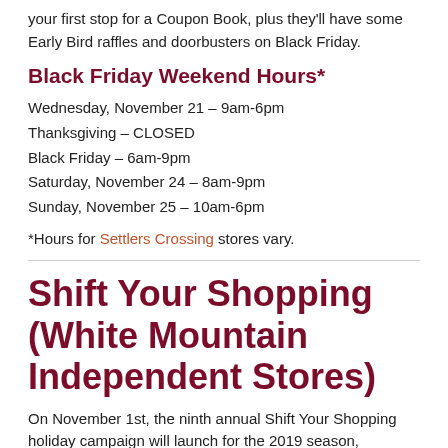your first stop for a Coupon Book, plus they'll have some Early Bird raffles and doorbusters on Black Friday.
Black Friday Weekend Hours*
Wednesday, November 21 – 9am-6pm
Thanksgiving – CLOSED
Black Friday – 6am-9pm
Saturday, November 24 – 8am-9pm
Sunday, November 25 – 10am-6pm
*Hours for Settlers Crossing stores vary.
Shift Your Shopping (White Mountain Independent Stores)
On November 1st, the ninth annual Shift Your Shopping holiday campaign will launch for the 2019 season,